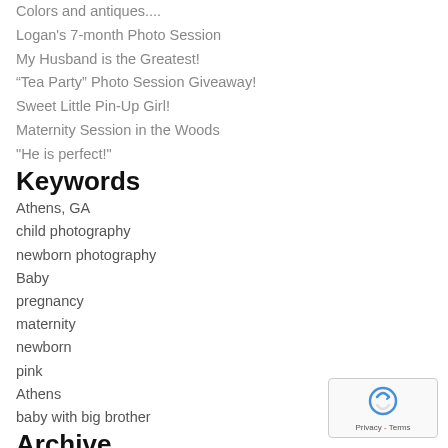Colors and antiques....
Logan's 7-month Photo Session
My Husband is the Greatest!
“Tea Party” Photo Session Giveaway!
Sweet Little Pin-Up Girl!
Maternity Session in the Woods
"He is perfect!"
Keywords
Athens, GA
child photography
newborn photography
Baby
pregnancy
maternity
newborn
pink
Athens
baby with big brother
Archive
« 2021  2022